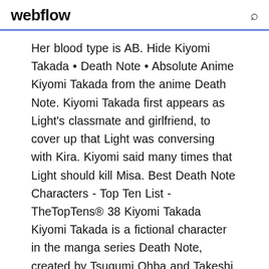webflow
Her blood type is AB. Hide Kiyomi Takada • Death Note • Absolute Anime Kiyomi Takada from the anime Death Note. Kiyomi Takada first appears as Light's classmate and girlfriend, to cover up that Light was conversing with Kira. Kiyomi said many times that Light should kill Misa. Best Death Note Characters - Top Ten List - TheTopTens® 38 Kiyomi Takada Kiyomi Takada is a fictional character in the manga series Death Note, created by Tsugumi Ohba and Takeshi Obata. While she is a little bit stupid, she's at least more tolerable than Misa. I hate her, because she killed Mello. Misa is better. I love her and her intelligence not like miss.. Shouldn't she be higher than Misa on Kiyomi